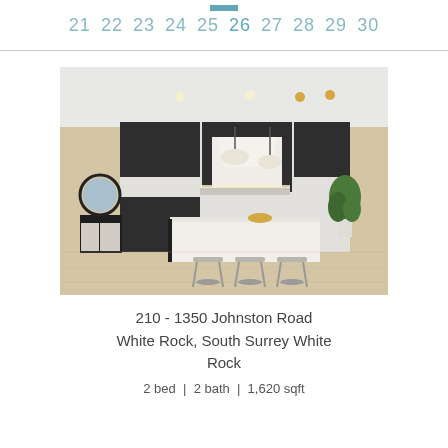21 22 23 24 25 26 27 28 29 30
[Figure (photo): Interior photo of a modern kitchen with dark cabinetry, white island countertop, three grey bar stools, pendant lighting, and light wood flooring]
210 - 1350 Johnston Road White Rock, South Surrey White Rock
2 bed  |  2 bath  |  1,620 sqft